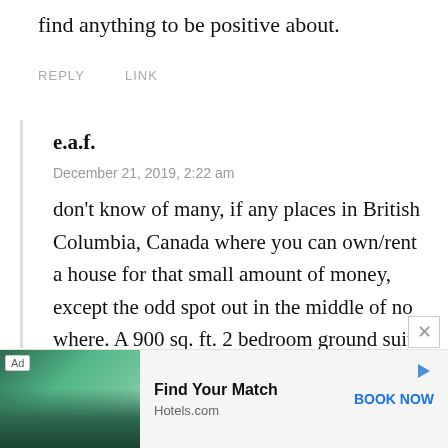find anything to be positive about.
REPLY   LINK
e.a.f.
December 21, 2019, 2:22 am
don't know of many, if any places in British Columbia, Canada where you can own/rent a house for that small amount of money, except the odd spot out in the middle of no where. A 900 sq. ft. 2 bedroom ground suite apartment is $1400 a month in parts of Vancouver Island. The rent on the tiny home isn't bad by our standards.
[Figure (other): Advertisement banner for Hotels.com showing a scenic nature/water image with trees, text 'Find Your Match', 'Hotels.com', and 'BOOK NOW' button]